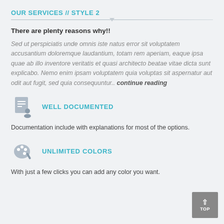OUR SERVICES // STYLE 2
There are plenty reasons why!!
Sed ut perspiciatis unde omnis iste natus error sit voluptatem accusantium doloremque laudantium, totam rem aperiam, eaque ipsa quae ab illo inventore veritatis et quasi architecto beatae vitae dicta sunt explicabo. Nemo enim ipsam voluptatem quia voluptas sit aspernatur aut odit aut fugit, sed quia consequuntur.. continue reading
[Figure (illustration): Document/file icon with a person silhouette]
WELL DOCUMENTED
Documentation include with explanations for most of the options.
[Figure (illustration): Palette/paint icon for colors]
UNLIMITED COLORS
With just a few clicks you can add any color you want.